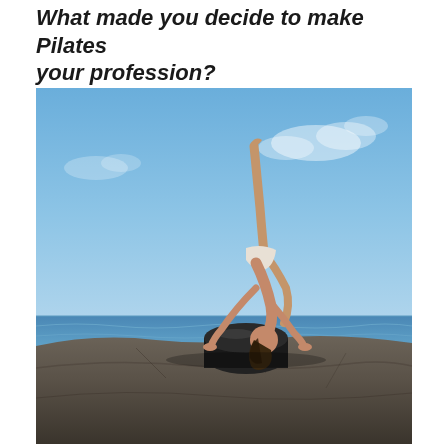What made you decide to make Pilates your profession?
[Figure (photo): A woman performing an advanced Pilates/acrobatic pose on a large black barrel/prop on rocky terrain by the ocean. She is in a deep backbend with one leg extended straight up toward the sky, hands on the ground, demonstrating extreme flexibility and strength. The background shows a clear blue sky with light clouds and the ocean horizon.]